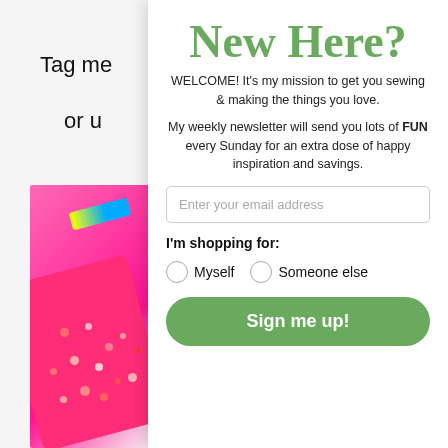Tag me
or u
[Figure (photo): Pink sequin/button bag spilling colorful buttons on white background]
New Here?
WELCOME! It's my mission to get you sewing & making the things you love.
My weekly newsletter will send you lots of FUN every Sunday for an extra dose of happy inspiration and savings.
Enter your email address
I'm shopping for:
Myself
Someone else
Sign me up!